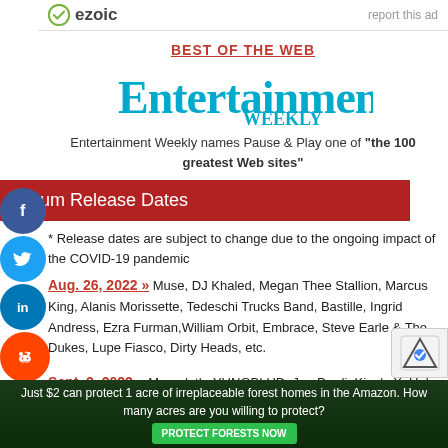ezoic | report this ad
BEST OF THE WEB
[Figure (logo): Entertainment Weekly logo in teal/blue stylized text]
Entertainment Weekly names Pause & Play one of "the 100 greatest Web sites"
Album Release Dates
* Release dates are subject to change due to the ongoing impact of the COVID-19 pandemic
Aug. 26, 2022 » Muse, DJ Khaled, Megan Thee Stallion, Marcus King, Alanis Morissette, Tedeschi Trucks Band, Bastille, Ingrid Andress, Ezra Furman, William Orbit, Embrace, Steve Earle & The Dukes, Lupe Fiasco, Dirty Heads, etc.
Sept. 2, 2022 » Megadeth, YUNGBLUD, Jon Pardi, King's X, Unl Blind Guardian, Tom Chaplin, John Sital, Firela, Mira Mou...